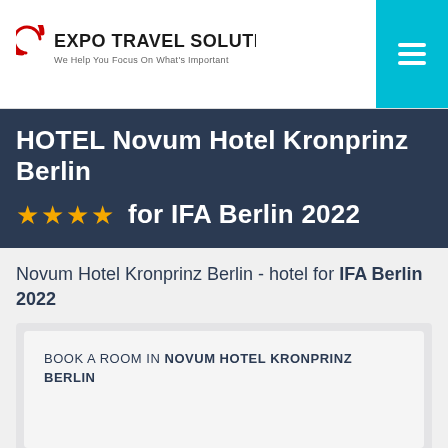EXPO TRAVEL SOLUTIONS — We Help You Focus On What's Important
HOTEL Novum Hotel Kronprinz Berlin ★★★★ for IFA Berlin 2022
Novum Hotel Kronprinz Berlin - hotel for IFA Berlin 2022
BOOK A ROOM IN NOVUM HOTEL KRONPRINZ BERLIN